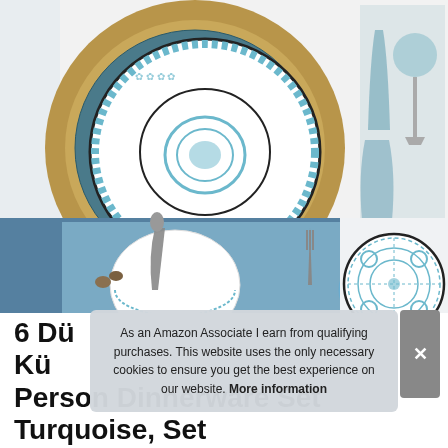[Figure (photo): Product photo of a turquoise and white ceramic dinnerware set. Top half shows plates with blue floral/medallion patterns on a wicker mat, with blue glassware and a green pot. Bottom left shows a table setting with a bowl, spoon, fork and blue dotted placemat. Bottom right shows a detailed close-up of a plate with ornate blue mandala/tile pattern.]
As an Amazon Associate I earn from qualifying purchases. This website uses the only necessary cookies to ensure you get the best experience on our website. More information
6 Dü... Kü... Person Dinnerware Set Turquoise, Set